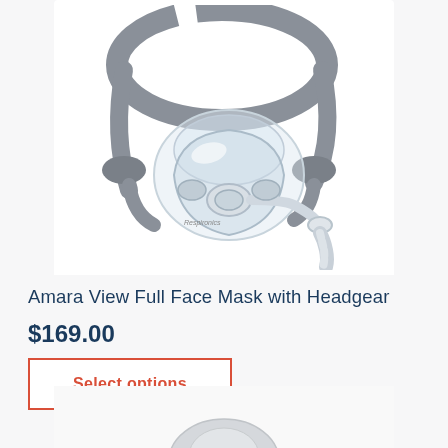[Figure (photo): Amara View Full Face CPAP mask with gray headgear and clear silicone cushion, shown at an angle against a white background]
Amara View Full Face Mask with Headgear
$169.00
Select options
[Figure (photo): Partial view of a second CPAP product (gray/white device) at the bottom of the page]